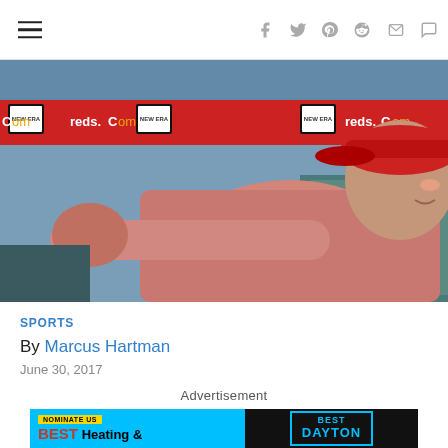Navigation bar with hamburger menu and social icons: facebook, twitter, pinterest, reddit, email, comment
[Figure (photo): A Cincinnati Reds manager or coach wearing a red cap and pink/red long-sleeve shirt, giving a thumbs down gesture in the dugout. The background shows the Reds ballpark with red banners reading 'reds.Com' and New Era logo boxes.]
SPORTS
By Marcus Hartman
June 30, 2017
Advertisement
[Figure (screenshot): Advertisement banner with 'NOMINATE US BEST Heating &' text on left side and 'BEST DAYTON' teal-bordered text on right side, on a dark background.]